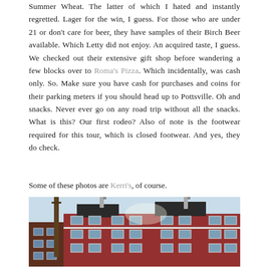Summer Wheat. The latter of which I hated and instantly regretted. Lager for the win, I guess. For those who are under 21 or don't care for beer, they have samples of their Birch Beer available. Which Letty did not enjoy. An acquired taste, I guess. We checked out their extensive gift shop before wandering a few blocks over to Roma's Pizza. Which incidentally, was cash only. So. Make sure you have cash for purchases and coins for their parking meters if you should head up to Pottsville. Oh and snacks. Never ever go on any road trip without all the snacks. What is this? Our first rodeo? Also of note is the footwear required for this tour, which is closed footwear. And yes, they do check.
Some of these photos are Kerri's, of course.
[Figure (photo): Exterior photo of a large red brick building, taken from a low angle looking up. The building has multiple rows of white-framed windows across several floors. Two metal chimneys or exhaust pipes protrude from the rooftop. A wooden utility pole is visible in the foreground on the left. The sky is bright blue-white behind the building.]